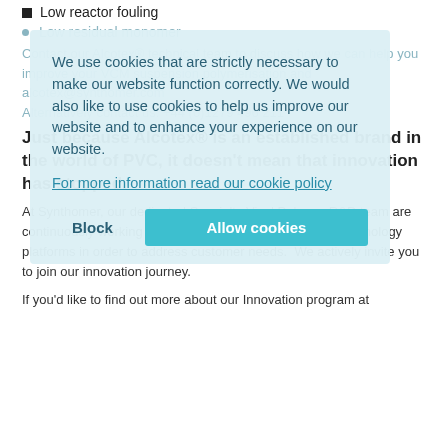Low reactor fouling
Low residual monomer
Contact our Alcotex® technical team to discuss how we can help you improve your VCM suspension polymerisation. Email us at alcotex@synthomer.com
Alternatively contact us: +44 (0)1279 496 211
[Figure (screenshot): Cookie consent overlay popup with text: 'We use cookies that are strictly necessary to make our website function correctly. We would also like to use cookies to help us improve our website and to enhance your experience on our website.' with a link 'For more information read our cookie policy' and two buttons: 'Block' and 'Allow cookies']
Just because Alcotex® is an established brand in the world of PVC, it doesn't mean that innovation has stopped.
At Synthomer, our dedicated Specialty Vinyl Polymer R&D team are continuously working to improve our suspending agent technology platforms in order to address customer needs.  We actively invite you to join our innovation journey.
If you'd like to find out more about our Innovation program at